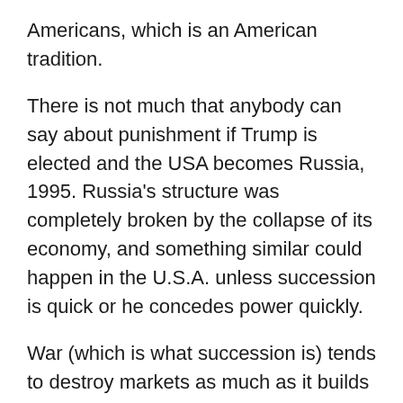Americans, which is an American tradition.
There is not much that anybody can say about punishment if Trump is elected and the USA becomes Russia, 1995. Russia's structure was completely broken by the collapse of its economy, and something similar could happen in the U.S.A. unless succession is quick or he concedes power quickly.
War (which is what succession is) tends to destroy markets as much as it builds new ones given time. By not conceding power, Trump is giving more time to those who want to destroy the structure of our country.
You might also say that not conceding tears out a huge piece of fabric from some of the greatest structure that the U.S.A. has known. And in the context of